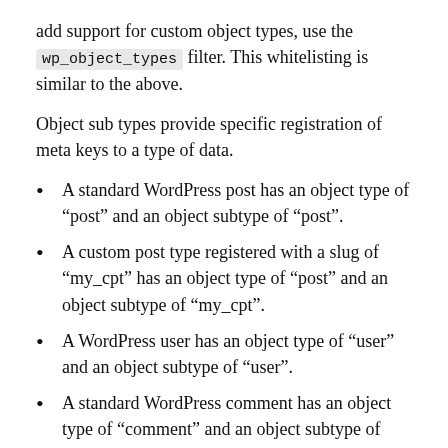add support for custom object types, use the wp_object_types filter. This whitelisting is similar to the above.
Object sub types provide specific registration of meta keys to a type of data.
A standard WordPress post has an object type of “post” and an object subtype of “post”.
A custom post type registered with a slug of “my_cpt” has an object type of “post” and an object subtype of “my_cpt”.
A WordPress user has an object type of “user” and an object subtype of “user”.
A standard WordPress comment has an object type of “comment” and an object subtype of “comment”.
A standard WordPress category term has an